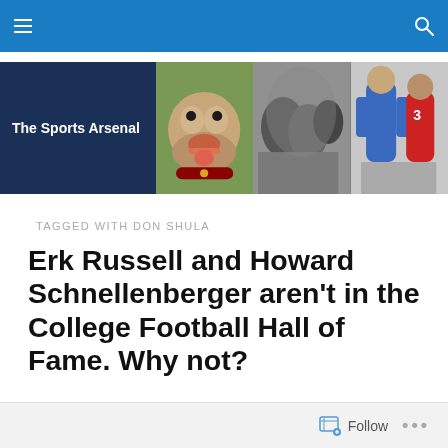The Sports Arsenal — navigation bar with hamburger menu and search icon
[Figure (illustration): Website banner for The Sports Arsenal showing dark navy left panel with site name in white, followed by three photo panels: a bulldog mascot in color, a black-and-white football action shot, and a color football player image]
TAGGED WITH DON SHULA
Erk Russell and Howard Schnellenberger aren't in the College Football Hall of Fame. Why not?
Follow ...